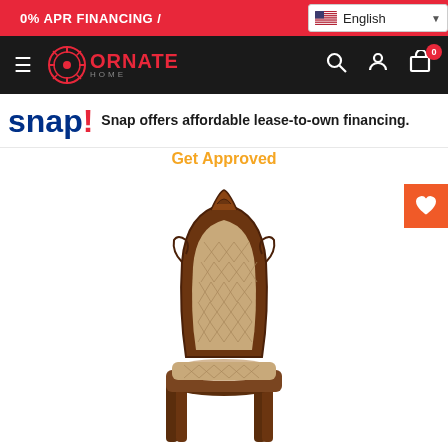0% APR FINANCING / English
[Figure (logo): Ornate Home logo with hamburger menu, search, account, and cart icons on black nav bar]
snap! Snap offers affordable lease-to-own financing.
Get Approved
[Figure (photo): Ornate dining chair with dark cherry wood frame and cream/beige quilted upholstered seat and back with decorative carved top rail]